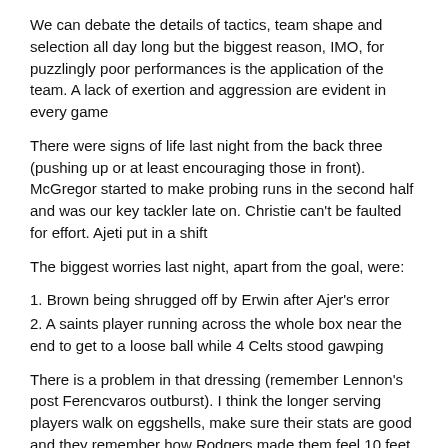We can debate the details of tactics, team shape and selection all day long but the biggest reason, IMO, for puzzlingly poor performances is the application of the team. A lack of exertion and aggression are evident in every game
There were signs of life last night from the back three (pushing up or at least encouraging those in front). McGregor started to make probing runs in the second half and was our key tackler late on. Christie can't be faulted for effort. Ajeti put in a shift
The biggest worries last night, apart from the goal, were:
1. Brown being shrugged off by Erwin after Ajer's error
2. A saints player running across the whole box near the end to get to a loose ball while 4 Celts stood gawping
There is a problem in that dressing (remember Lennon's post Ferencvaros outburst). I think the longer serving players walk on eggshells, make sure their stats are good and they remember how Rodgers made them feel 10 feet tall.
I think a walk up the Campsies with a few bags of cans is just what those bhoys need 😉